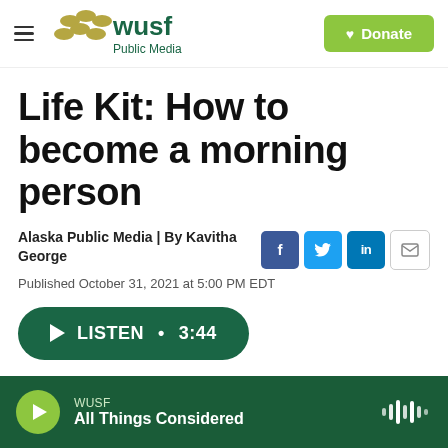WUSF Public Media | Donate
Life Kit: How to become a morning person
Alaska Public Media | By Kavitha George
Published October 31, 2021 at 5:00 PM EDT
LISTEN • 3:44
WUSF — All Things Considered